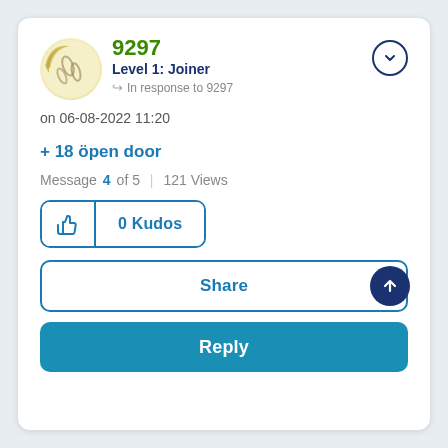[Figure (illustration): User avatar showing a round face with sleepy/lines expression in yellow/cream and olive tones]
9297
Level 1: Joiner
In response to 9297
on 06-08-2022 11:20
+ 18 öpen door
Message 4 of 5  |  121 Views
0 Kudos
Share
Reply